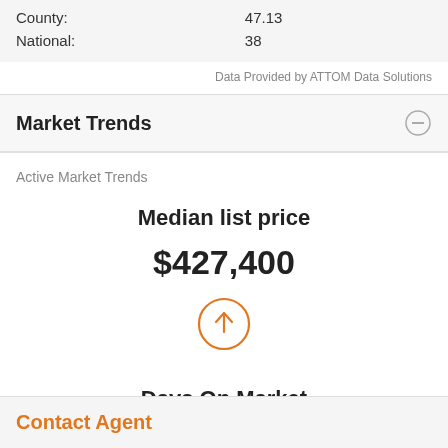|  |  |
| --- | --- |
| County: | 47.13 |
| National: | 38 |
Data Provided by ATTOM Data Solutions
Market Trends
Active Market Trends
Median list price
$427,400
[Figure (infographic): Orange circle with upward arrow indicating price increase]
Days On Market
Contact Agent